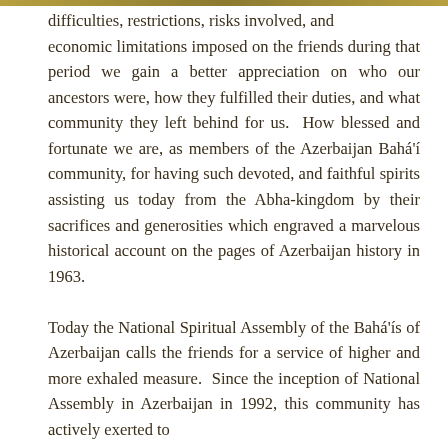difficulties, restrictions, risks involved, and economic limitations imposed on the friends during that period we gain a better appreciation on who our ancestors were, how they fulfilled their duties, and what community they left behind for us.  How blessed and fortunate we are, as members of the Azerbaijan Bahá'í community, for having such devoted, and faithful spirits assisting us today from the Abha-kingdom by their sacrifices and generosities which engraved a marvelous historical account on the pages of Azerbaijan history in 1963.
Today the National Spiritual Assembly of the Bahá'ís of Azerbaijan calls the friends for a service of higher and more exhaled measure.  Since the inception of National Assembly in Azerbaijan in 1992, this community has actively exerted to